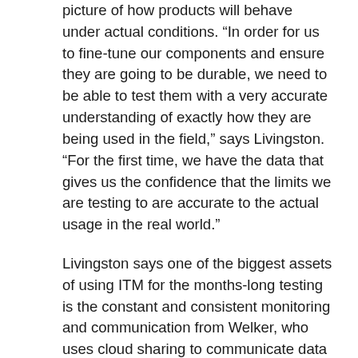picture of how products will behave under actual conditions. “In order for us to fine-tune our components and ensure they are going to be durable, we need to be able to test them with a very accurate understanding of exactly how they are being used in the field,” says Livingston. “For the first time, we have the data that gives us the confidence that the limits we are testing to are accurate to the actual usage in the real world.”
Livingston says one of the biggest assets of using ITM for the months-long testing is the constant and consistent monitoring and communication from Welker, who uses cloud sharing to communicate data sets to Borg Warner in five-minute increments, then merges files into a day-long view. Welker even tracks the testing on the weekends on his smart phone and can go online to reconfigure file sizes or sample rates.